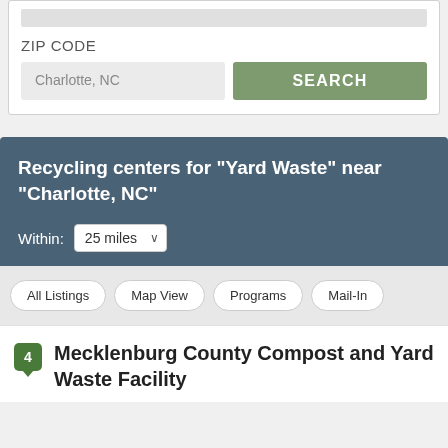ZIP CODE
Charlotte, NC
SEARCH
Recycling centers for "Yard Waste" near "Charlotte, NC"
Within: 25 miles
All Listings
Map View
Programs
Mail-In
Mecklenburg County Compost and Yard Waste Facility